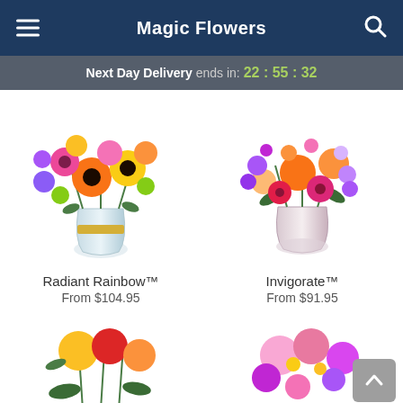Magic Flowers
Next Day Delivery ends in: 22 : 55 : 32
[Figure (photo): Radiant Rainbow flower bouquet in a glass vase with yellow ribbon, colorful mix of orange gerberas, yellow daisies, pink carnations, purple flowers]
Radiant Rainbow™
From $104.95
[Figure (photo): Invigorate flower arrangement in a glass vase with orange roses, pink gerberas, purple stock flowers]
Invigorate™
From $91.95
[Figure (photo): Partial view of a flower bouquet with yellow, red and orange roses at bottom left]
[Figure (photo): Partial view of a pink and purple flower arrangement at bottom right]